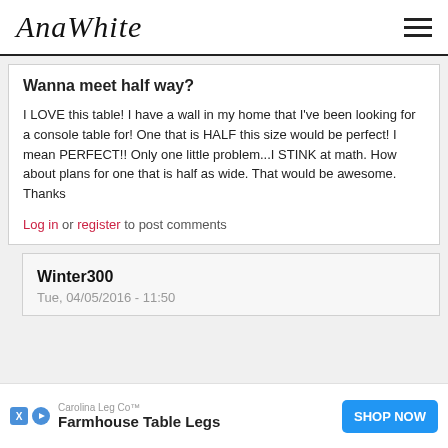AnaWhite
Wanna meet half way?
I LOVE this table! I have a wall in my home that I've been looking for a console table for! One that is HALF this size would be perfect! I mean PERFECT!! Only one little problem...I STINK at math. How about plans for one that is half as wide. That would be awesome. Thanks
Log in or register to post comments
Winter300
Tue, 04/05/2016 - 11:50
Carolina Leg Co™ Farmhouse Table Legs SHOP NOW